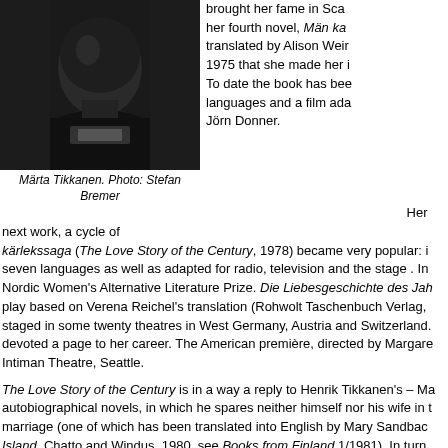[Figure (photo): Black and white portrait photo of Märta Tikkanen, facing away/sideways showing the back of head and torso against dark background]
Märta Tikkanen. Photo: Stefan Bremer
brought her fame in Sca her fourth novel, Män ka translated by Alison Weir 1975 that she made her i To date the book has bee languages and a film ada Jörn Donner.
Her next work, a cycle of kärlekssaga (The Love Story of the Century, 1978) became very popular: i seven languages as well as adapted for radio, television and the stage . In Nordic Women's Alternative Literature Prize. Die Liebesgeschichte des Jah play based on Verena Reichel's translation (Rohwolt Taschenbuch Verlag, staged in some twenty theatres in West Germany, Austria and Switzerland. devoted a page to her career. The American première, directed by Margare Intiman Theatre, Seattle.
The Love Story of the Century is in a way a reply to Henrik Tikkanen's – Ma autobiographical novels, in which he spares neither himself nor his wife in t marriage (one of which has been translated into English by Mary Sandbac Island, Chatto and Windus, 1980, see Books from Finland 1/1981). In turn, passionately describes how a woman who has been brought up within the conventionality lives through a marital hell, which is the result of her husba interprets his alcoholism as a weapon in the power struggle within the fam